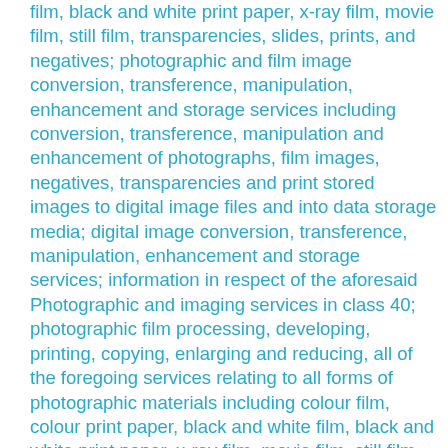film, black and white print paper, x-ray film, movie film, still film, transparencies, slides, prints, and negatives; photographic and film image conversion, transference, manipulation, enhancement and storage services including conversion, transference, manipulation and enhancement of photographs, film images, negatives, transparencies and print stored images to digital image files and into data storage media; digital image conversion, transference, manipulation, enhancement and storage services; information in respect of the aforesaid Photographic and imaging services in class 40; photographic film processing, developing, printing, copying, enlarging and reducing, all of the foregoing services relating to all forms of photographic materials including colour film, colour print paper, black and white film, black and white print paper, x-ray film, movie film, still film, transparencies, slides, prints, and negatives; photographic and film image conversion, transference, manipulation, and enhancement services including